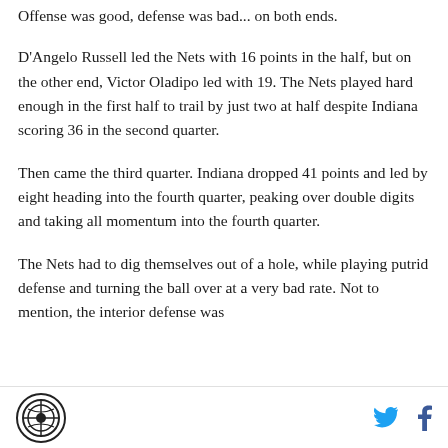Offense was good, defense was bad... on both ends.
D'Angelo Russell led the Nets with 16 points in the half, but on the other end, Victor Oladipo led with 19. The Nets played hard enough in the first half to trail by just two at half despite Indiana scoring 36 in the second quarter.
Then came the third quarter. Indiana dropped 41 points and led by eight heading into the fourth quarter, peaking over double digits and taking all momentum into the fourth quarter.
The Nets had to dig themselves out of a hole, while playing putrid defense and turning the ball over at a very bad rate. Not to mention, the interior defense was
[Logo] [Twitter icon] [Facebook icon]